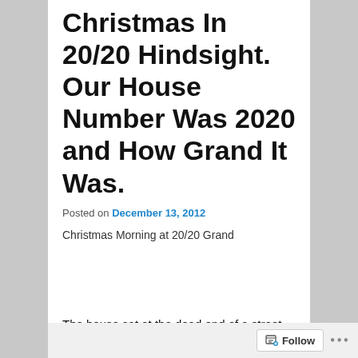Christmas In 20/20 Hindsight. Our House Number Was 2020 and How Grand It Was.
Posted on December 13, 2012
Christmas Morning at 20/20 Grand
The house sat at the dead end of a street jammed with ten kids.  My mom could barely lace up the shoe.  Yet she worked hard to make this time of year special.  My wife has a tinge of sadness when I tell her we would get clothes for Christmas and one toy.  I keep forgetting to tell